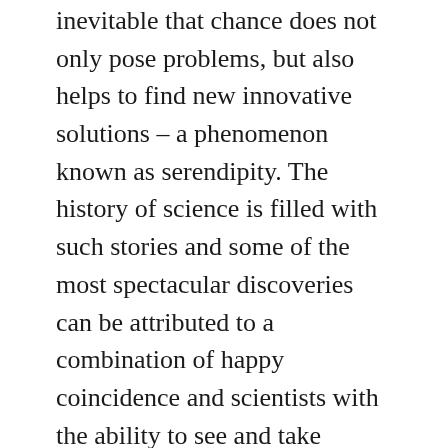inevitable that chance does not only pose problems, but also helps to find new innovative solutions – a phenomenon known as serendipity. The history of science is filled with such stories and some of the most spectacular discoveries can be attributed to a combination of happy coincidence and scientists with the ability to see and take advantage of the opportunities.
The most famous example is perhaps the Scottish microbiologist Alexander Fleming's discovery of penicillin, when he returned to his laboratory after a weekend trip and discovered that a colony of Penicillium mold on a forgotten agar culture plate had inhibited all bacterial